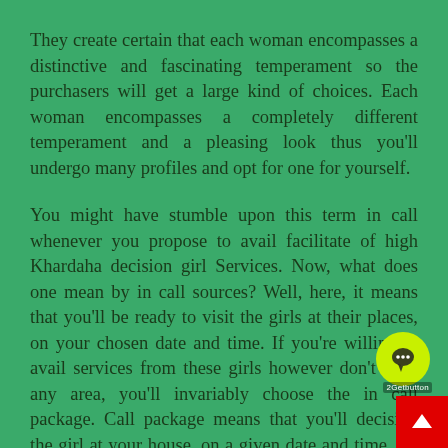They create certain that each woman encompasses a distinctive and fascinating temperament so the purchasers will get a large kind of choices. Each woman encompasses a completely different temperament and a pleasing look thus you'll undergo many profiles and opt for one for yourself.
You might have stumble upon this term in call whenever you propose to avail facilitate of high Khardaha decision girl Services. Now, what does one mean by in call sources? Well, here, it means that you'll be ready to visit the girls at their places, on your chosen date and time. If you're willing to avail services from these girls however don't have any area, you'll invariably choose the in call package. Call package means that you'll decision the girl at your house, on a given date and time. it's somewhat a touch bit dearer in comparison with the in call service, as here; you've got to pay